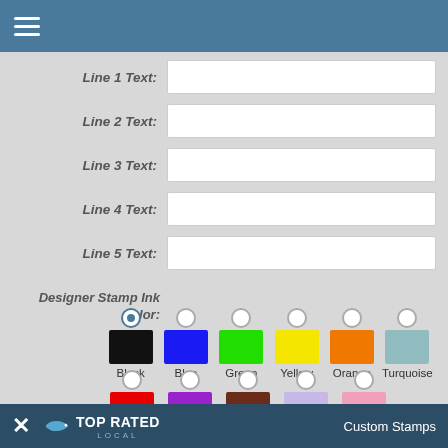[Figure (screenshot): Mobile app top navigation bar with hamburger menu icon on blue background]
Line 1 Text: [input field]
Line 2 Text: [input field]
Line 3 Text: [input field]
Line 4 Text: [input field]
Line 5 Text: [input field]
Designer Stamp Ink Color:
Black, Blue, Green, Yellow, Orange, Turquoise, Red, Violet, Brown, Mint, Pink
Can I Preview my La... This product does not currently allow
may request the
Custom Stamps